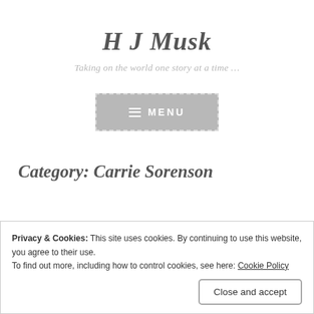H J Musk
Taking on the world one story at a time …
[Figure (other): Navigation menu button with dashed border, hamburger icon and MENU label]
Category: Carrie Sorenson
Privacy & Cookies: This site uses cookies. By continuing to use this website, you agree to their use.
To find out more, including how to control cookies, see here: Cookie Policy
Close and accept